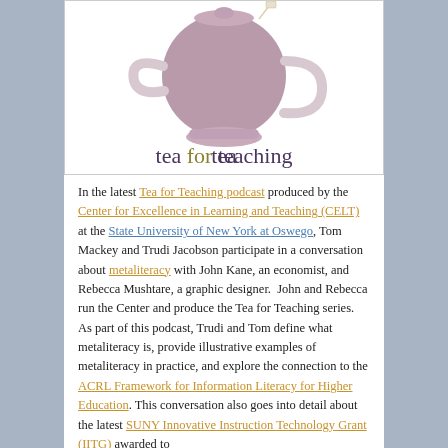[Figure (illustration): Tea for Teaching logo: a mauve/purple teapot illustration above the text 'tea for teaching' in large lowercase letters with 'for' in gold/olive color and 'tea' and 'teaching' in dark purple.]
In the latest Tea for Teaching podcast produced by the Center for Excellence in Learning and Teaching (CELT) at the State University of New York at Oswego, Tom Mackey and Trudi Jacobson participate in a conversation about metaliteracy with John Kane, an economist, and Rebecca Mushtare, a graphic designer.  John and Rebecca run the Center and produce the Tea for Teaching series. As part of this podcast, Trudi and Tom define what metaliteracy is, provide illustrative examples of metaliteracy in practice, and explore the connection to the ACRL Framework for Information Literacy for Higher Education. This conversation also goes into detail about the latest SUNY Innovative Instruction Technology Grant (IITG) awarded to